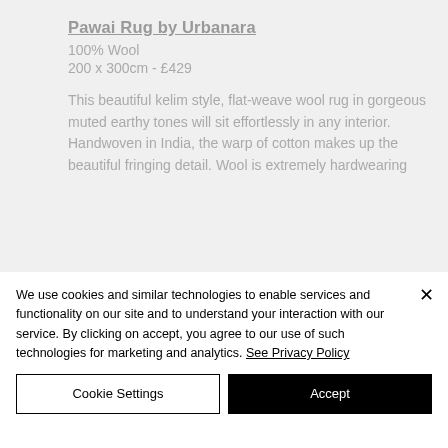Pawai Rug by Urbanara
100% Wool
200 x 300cm - £429
This beautiful kelim style, flat-weave wool rug in gorgeous muted earthy tones will sit effortlessly in any interior. Handwoven in India, the warp of cotton makes up the beautiful fringing detail. Wool is extremely hardwearing
We use cookies and similar technologies to enable services and functionality on our site and to understand your interaction with our service. By clicking on accept, you agree to our use of such technologies for marketing and analytics. See Privacy Policy